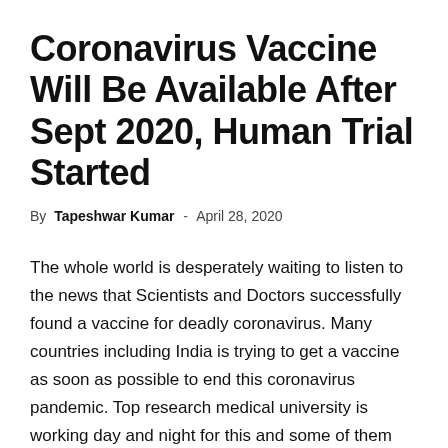Coronavirus Vaccine Will Be Available After Sept 2020, Human Trial Started
By Tapeshwar Kumar - April 28, 2020
The whole world is desperately waiting to listen to the news that Scientists and Doctors successfully found a vaccine for deadly coronavirus. Many countries including India is trying to get a vaccine as soon as possible to end this coronavirus pandemic. Top research medical university is working day and night for this and some of them also get initial success.
As per the latest media report Oxford University, UK has been started a Coronavirus vaccine trial and injects the first